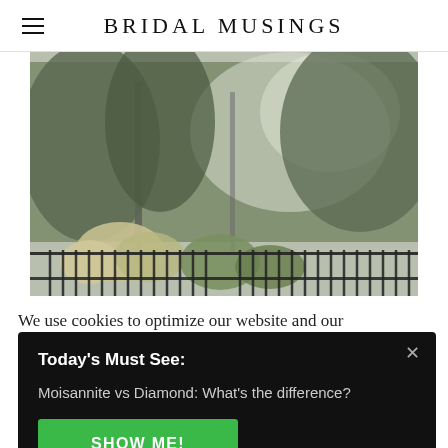BRIDAL MUSINGS
[Figure (photo): Outdoor garden scene with trees, flowering plants, and a black metal fence in the background, slightly overexposed light]
We use cookies to optimize our website and our
Today's Must See:
Moisannite vs Diamond: What's the difference?
SHOW ME!